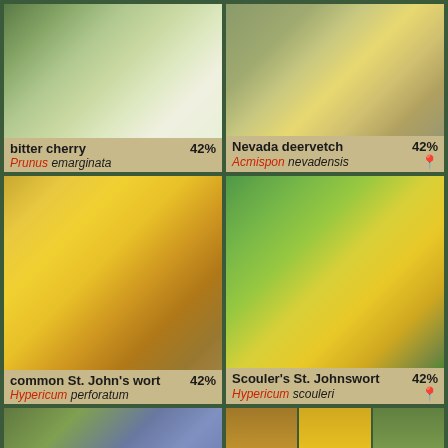[Figure (photo): Bitter cherry plant with white flowers and green leaves]
bitter cherry 42%
Prunus emarginata
[Figure (photo): Nevada deervetch with small yellow flowers and gray-green leaves, location pin shown]
Nevada deervetch 42%
Acmispon nevadensis
[Figure (photo): Common St. John's wort with large yellow flowers, detailed view]
common St. John's wort 42%
Hypericum perforatum
[Figure (photo): Scouler's St. Johnswort with yellow flowers on green background, location pin shown]
Scouler's St. Johnswort 42%
Hypericum scouleri
[Figure (photo): Smallflower lupine with purple-blue flowers on a stem]
smallflower lupine 42%
[Figure (photo): Annual agoseris shown in three panels: plant with yellow flower, close-up of flower, and seedling]
annual agoseris 42%